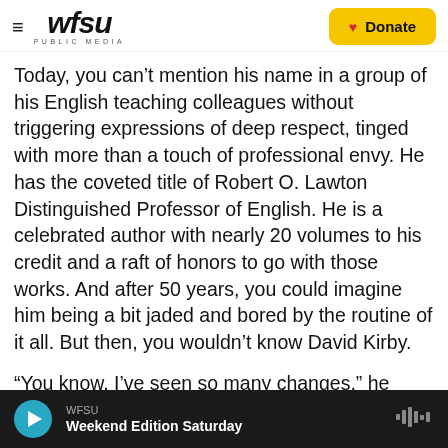WFSU PUBLIC MEDIA | Donate
Today, you can’t mention his name in a group of his English teaching colleagues without triggering expressions of deep respect, tinged with more than a touch of professional envy. He has the coveted title of Robert O. Lawton Distinguished Professor of English. He is a celebrated author with nearly 20 volumes to his credit and a raft of honors to go with those works. And after 50 years, you could imagine him being a bit jaded and bored by the routine of it all. But then, you wouldn’t know David Kirby.
“You know, I’ve seen so many changes,” he mused, sitting at the dining room table of the 1940s-vintage
WFSU Weekend Edition Saturday